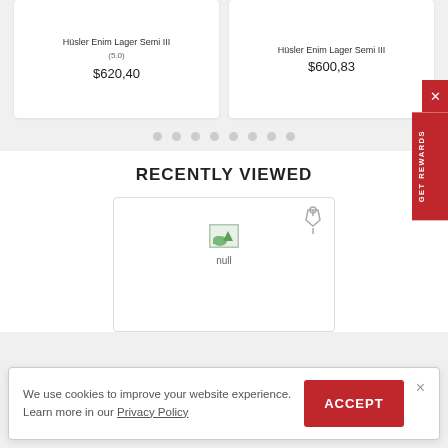Hüsler Enim Lager Semi III (5.0) $620,40
Hüsler Enim Lager Semi III $600,83
[Figure (other): Carousel pagination dots (8 circles)]
RECENTLY VIEWED
[Figure (other): Recently viewed product card with pin icon, null image placeholder, and null label]
We use cookies to improve your website experience. Learn more in our Privacy Policy
ACCEPT